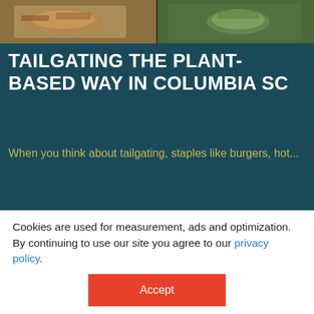[Figure (photo): Two food photos side by side at the top — left shows a plate of food, right shows a burger being held outdoors.]
TAILGATING THE PLANT-BASED WAY IN COLUMBIA SC
When you think about tailgating, staples like burgers, hot...
READ MORE
[Figure (photo): A smiling woman in a colorful green and blue feathered carnival headdress and silver sequin headband, performing at an outdoor festival with a crowd and band in the background.]
Cookies are used for measurement, ads and optimization. By continuing to use our site you agree to our privacy policy.
Accept